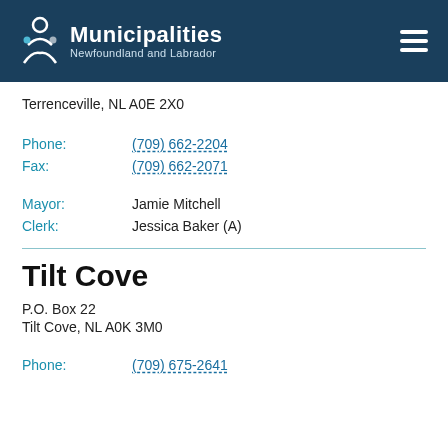Municipalities Newfoundland and Labrador
Terrenceville, NL A0E 2X0
Phone: (709) 662-2204
Fax: (709) 662-2071
Mayor: Jamie Mitchell
Clerk: Jessica Baker (A)
Tilt Cove
P.O. Box 22
Tilt Cove, NL A0K 3M0
Phone: (709) 675-2641